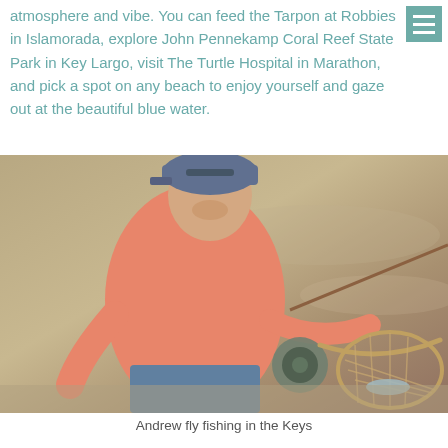menu icon (hamburger)
atmosphere and vibe. You can feed the Tarpon at Robbies in Islamorada, explore John Pennekamp Coral Reef State Park in Key Largo, visit The Turtle Hospital in Marathon, and pick a spot on any beach to enjoy yourself and gaze out at the beautiful blue water.
[Figure (photo): A man wearing a blue cap and coral/salmon long-sleeve shirt kneeling in shallow water, smiling, holding a fly fishing rod and a landing net with a fish inside it. Sandy water visible in background.]
Andrew fly fishing in the Keys